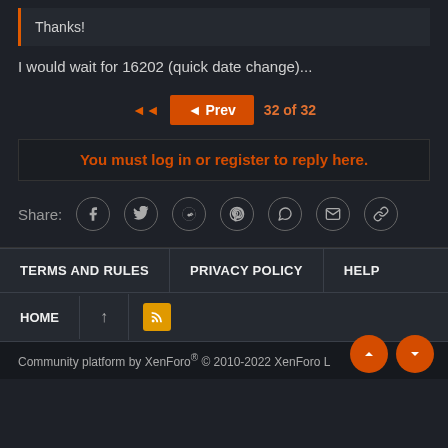Thanks!
I would wait for 16202 (quick date change)...
◄◄  ◄ Prev  32 of 32
You must log in or register to reply here.
Share:
TERMS AND RULES  PRIVACY POLICY  HELP  HOME
Community platform by XenForo® © 2010-2022 XenForo L